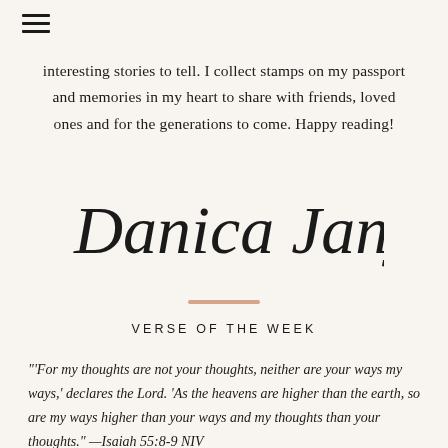interesting stories to tell. I collect stamps on my passport and memories in my heart to share with friends, loved ones and for the generations to come. Happy reading!
[Figure (illustration): Handwritten cursive signature reading 'Danica Janjutco']
VERSE OF THE WEEK
"'For my thoughts are not your thoughts, neither are your ways my ways,' declares the Lord. 'As the heavens are higher than the earth, so are my ways higher than your ways and my thoughts than your thoughts." —Isaiah 55:8-9 NIV